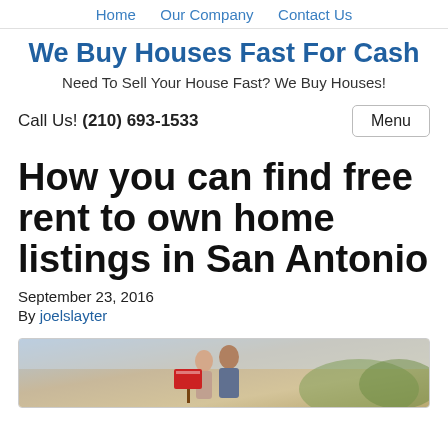Home   Our Company   Contact Us
We Buy Houses Fast For Cash
Need To Sell Your House Fast? We Buy Houses!
Call Us! (210) 693-1533
Menu
How you can find free rent to own home listings in San Antonio
September 23, 2016
By joelslayter
[Figure (photo): Photo of a couple holding a real estate sign outside a house]